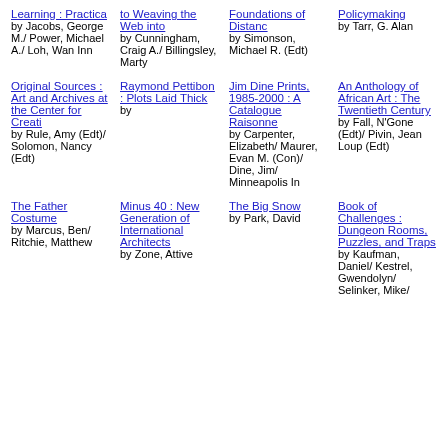Learning : Practica by Jacobs, George M./ Power, Michael A./ Loh, Wan Inn
to Weaving the Web into by Cunningham, Craig A./ Billingsley, Marty
Foundations of Distanc by Simonson, Michael R. (Edt)
Policymaking by Tarr, G. Alan
Original Sources : Art and Archives at the Center for Creati by Rule, Amy (Edt)/ Solomon, Nancy (Edt)
Raymond Pettibon : Plots Laid Thick by
Jim Dine Prints, 1985-2000 : A Catalogue Raisonne by Carpenter, Elizabeth/ Maurer, Evan M. (Con)/ Dine, Jim/ Minneapolis In
An Anthology of African Art : The Twentieth Century by Fall, N'Gone (Edt)/ Pivin, Jean Loup (Edt)
The Father Costume by Marcus, Ben/ Ritchie, Matthew
Minus 40 : New Generation of International Architects by Zone, Attive
The Big Snow by Park, David
Book of Challenges : Dungeon Rooms, Puzzles, and Traps by Kaufman, Daniel/ Kestrel, Gwendolyn/ Selinker, Mike/